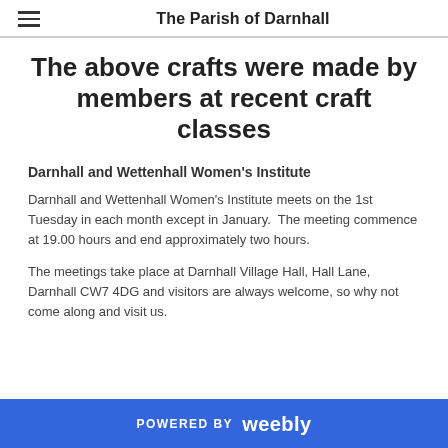The Parish of Darnhall
The above crafts were made by members at recent craft classes
Darnhall and Wettenhall Women’s Institute
Darnhall and Wettenhall Women’s Institute meets on the 1st Tuesday in each month except in January.  The meeting commence at 19.00 hours and end approximately two hours.
The meetings take place at Darnhall Village Hall, Hall Lane, Darnhall CW7 4DG and visitors are always welcome, so why not come along and visit us.
POWERED BY weebly